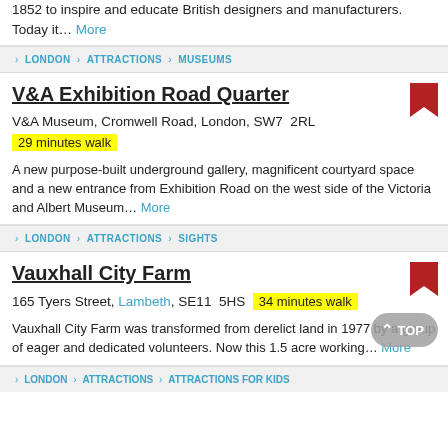1852 to inspire and educate British designers and manufacturers. Today it... More
LONDON › ATTRACTIONS › MUSEUMS
V&A Exhibition Road Quarter
V&A Museum, Cromwell Road, London, SW7 2RL
29 minutes walk
A new purpose-built underground gallery, magnificent courtyard space and a new entrance from Exhibition Road on the west side of the Victoria and Albert Museum... More
LONDON › ATTRACTIONS › SIGHTS
Vauxhall City Farm
165 Tyers Street, Lambeth, SE11 5HS  34 minutes walk
Vauxhall City Farm was transformed from derelict land in 1977 by a group of eager and dedicated volunteers. Now this 1.5 acre working... More
LONDON › ATTRACTIONS › ATTRACTIONS FOR KIDS